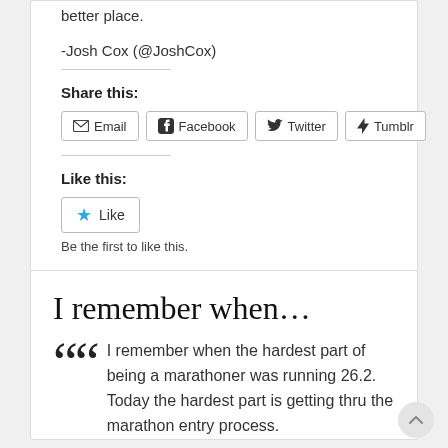better place.
-Josh Cox (@JoshCox)
Share this:
Email  Facebook  Twitter  Tumblr
Like this:
Like
Be the first to like this.
I remember when…
I remember when the hardest part of being a marathoner was running 26.2. Today the hardest part is getting thru the marathon entry process.